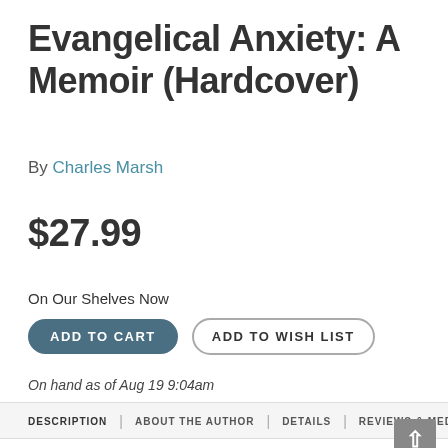Evangelical Anxiety: A Memoir (Hardcover)
By Charles Marsh
$27.99
On Our Shelves Now
ADD TO CART
ADD TO WISH LIST
On hand as of Aug 19 9:04am
DESCRIPTION | ABOUT THE AUTHOR | DETAILS | REVIEWS & MEDIA
In this riveting spiritual memoir, the writer,